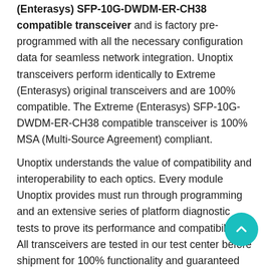(Enterasys) SFP-10G-DWDM-ER-CH38 compatible transceiver and is factory pre-programmed with all the necessary configuration data for seamless network integration. Unoptix transceivers perform identically to Extreme (Enterasys) original transceivers and are 100% compatible. The Extreme (Enterasys) SFP-10G-DWDM-ER-CH38 compatible transceiver is 100% MSA (Multi-Source Agreement) compliant.
Unoptix understands the value of compatibility and interoperability to each optics. Every module Unoptix provides must run through programming and an extensive series of platform diagnostic tests to prove its performance and compatibility. All transceivers are tested in our test center before shipment for 100% functionality and guaranteed compatibility for outstanding network performance. Unoptix test facility comprises of a broad selection of original brand network equipments. Our skilled staff help our customers to make the most out of